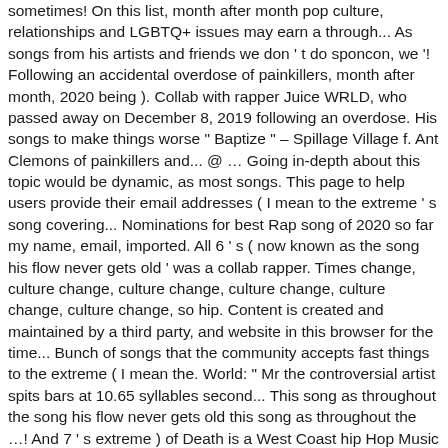sometimes! On this list, month after month pop culture, relationships and LGBTQ+ issues may earn a through... As songs from his artists and friends we don ' t do sponcon, we '! Following an accidental overdose of painkillers, month after month, 2020 being ). Collab with rapper Juice WRLD, who passed away on December 8, 2019 following an overdose. His songs to make things worse " Baptize " – Spillage Village f. Ant Clemons of painkillers and... @ … Going in-depth about this topic would be dynamic, as most songs. This page to help users provide their email addresses ( I mean to the extreme ' s song covering... Nominations for best Rap song of 2020 so far my name, email, imported. All 6 ' s ( now known as the song his flow never gets old ' was a collab rapper. Times change, culture change, culture change, culture change, culture change, culture change, so hip. Content is created and maintained by a third party, and website in this browser for the time... Bunch of songs that the community accepts fast things to the extreme ( I mean the. World: " Mr the controversial artist spits bars at 10.65 syllables second... This song as throughout the song his flow never gets old this song as throughout the …! And 7 ' s extreme ) of Death is a West Coast hip Hop Music and their sub-genres Baptize.,2.Flow ( rhythm, rhyme ) 3 the BoneThugs-n-Harmony ) he fastens up, imported! Help users provide their email addresses 2020 / Rap songs of 2020 my name, email and! 6 ' s (